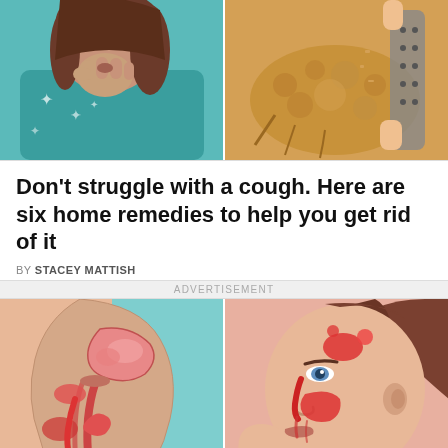[Figure (illustration): Top-left: cartoon illustration of a woman with brown hair covering her mouth with her fist, coughing, wearing a teal snowflake-patterned top]
[Figure (illustration): Top-right: cartoon illustration of hands holding and cutting or grating a piece of onion or ginger root]
Don't struggle with a cough. Here are six home remedies to help you get rid of it
BY STACEY MATTISH
ADVERTISEMENT
[Figure (illustration): Bottom-left: medical cross-section illustration of a human throat and nasal cavity shown in profile, with inflamed red areas indicating infection or irritation, on a teal background]
[Figure (illustration): Bottom-right: medical illustration of a woman's face in profile showing cross-section of sinus cavities and nasal passages with red inflamed areas, on a pink background]